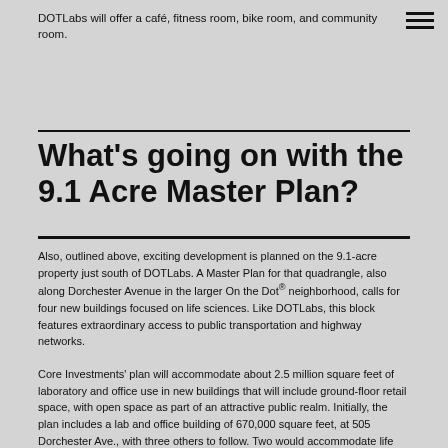DOTLabs will offer a café, fitness room, bike room, and community room.
What's going on with the 9.1 Acre Master Plan?
Also, outlined above, exciting development is planned on the 9.1-acre property just south of DOTLabs. A Master Plan for that quadrangle, also along Dorchester Avenue in the larger On the Dot® neighborhood, calls for four new buildings focused on life sciences. Like DOTLabs, this block features extraordinary access to public transportation and highway networks.
Core Investments' plan will accommodate about 2.5 million square feet of laboratory and office use in new buildings that will include ground-floor retail space, with open space as part of an attractive public realm. Initially, the plan includes a lab and office building of 670,000 square feet, at 505 Dorchester Ave., with three others to follow. Two would accommodate life sciences or tech and office space, as well as ground floor retail and